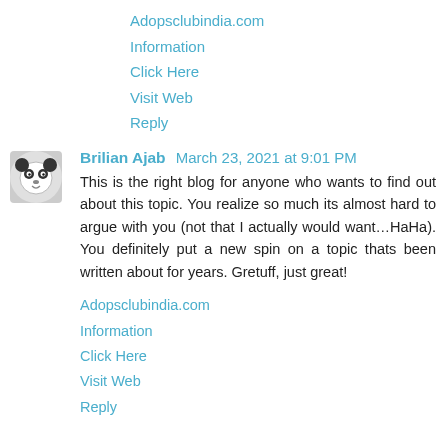Adopsclubindia.com
Information
Click Here
Visit Web
Reply
Brilian Ajab  March 23, 2021 at 9:01 PM
This is the right blog for anyone who wants to find out about this topic. You realize so much its almost hard to argue with you (not that I actually would want…HaHa). You definitely put a new spin on a topic thats been written about for years. Gretuff, just great!
Adopsclubindia.com
Information
Click Here
Visit Web
Reply